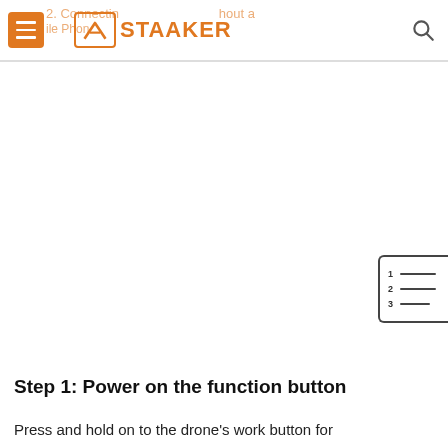2. Connecting ... without a Mobile Phone | STAAKER
[Figure (other): TOC / numbered list icon floating on right side]
Step 1: Power on the function button
Press and hold on to the drone's work button for